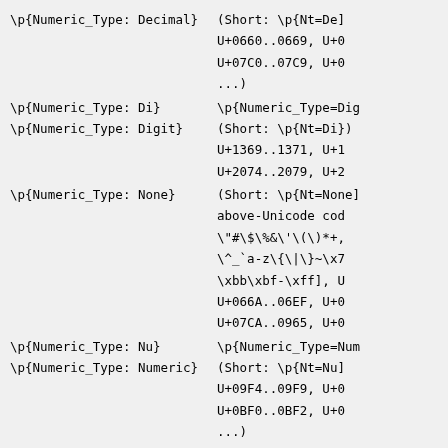\p{Numeric_Type: Decimal} (Short: \p{Nt=De] U+0660..0669, U+0 U+07C0..07C9, U+0 ...)
\p{Numeric_Type: Di}      \p{Numeric_Type=Dig
\p{Numeric_Type: Digit} (Short: \p{Nt=Di}) U+1369..1371, U+1 U+2074..2079, U+2
\p{Numeric_Type: None}  (Short: \p{Nt=None] above-Unicode cod \"#\$\%&\'\(\)*+ \^_`a-z\{\|\}~\x7 \xbb\xbf-\xff], U U+066A..06EF, U+0 U+07CA..0965, U+0
\p{Numeric_Type: Nu}      \p{Numeric_Type=Num
\p{Numeric_Type: Numeric} (Short: \p{Nt=Nu] U+09F4..09F9, U+0 U+0BF0..0BF2, U+0 ...)
T \p{Numeric_Value: -1/2} (Short: \p{Nv=-1/2]
T \p{Numeric_Value: 0}    (Short: \p{Nv=0}) U+06F0, U+07C0, U